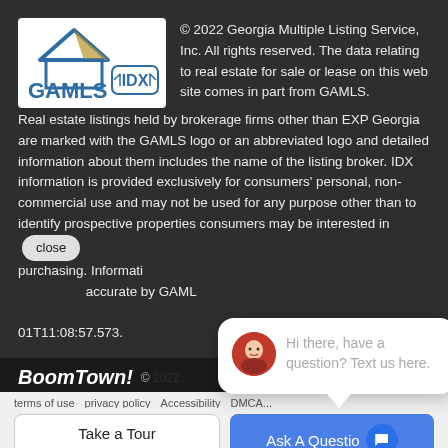[Figure (logo): GAMLS IDX logo — house roof outline in blue/gold above 'GAMLS' in blue text and 'IDX' badge with arrows]
© 2022 Georgia Multiple Listing Service, Inc. All rights reserved. The data relating to real estate for sale or lease on this web site comes in part from GAMLS. Real estate listings held by brokerage firms other than EXP Georgia are marked with the GAMLS logo or an abbreviated logo and detailed information about them includes the name of the listing broker. IDX information is provided exclusively for consumers' personal, non-commercial use and may not be used for any purpose other than to identify prospective properties consumers may be interested in purchasing. Information is deemed reliable but is not guaranteed accurate by GAMLS or EXP Georgia. Data last updated: 2022-12-01T11:08:57.573.
[Figure (photo): Chat popup with avatar photo of a woman, text: Hi there, have a question? Text us here.]
BoomTown! © [year copyright]
Terms of Use · Privacy Policy · Accessibility · DMCA
Take a Tour | Ask A Question